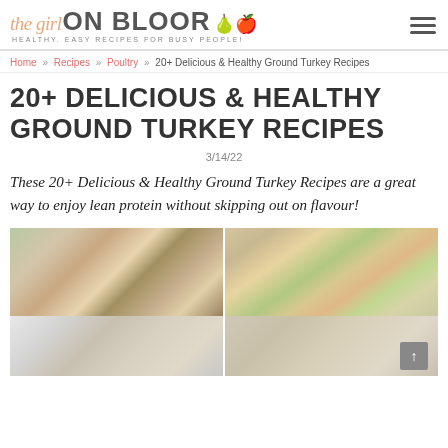[Figure (logo): The Girl on Bloor logo with script 'the girl' text, bold 'ON BLOOR' text, pear emoji, tagline 'Healthy. Easy Recipes For Busy People!' and hamburger menu icon on the right]
Home » Recipes » Poultry » 20+ Delicious & Healthy Ground Turkey Recipes
20+ DELICIOUS & HEALTHY GROUND TURKEY RECIPES
3/14/22
These 20+ Delicious & Healthy Ground Turkey Recipes are a great way to enjoy lean protein without skipping out on flavour!
[Figure (photo): Two food photos side by side: left shows turkey meatballs with zucchini noodles and tomato sauce in a glass dish; right shows zucchini boats topped with ground turkey, melted cheese, peppers and red onions. Below are two more partially visible food photos.]